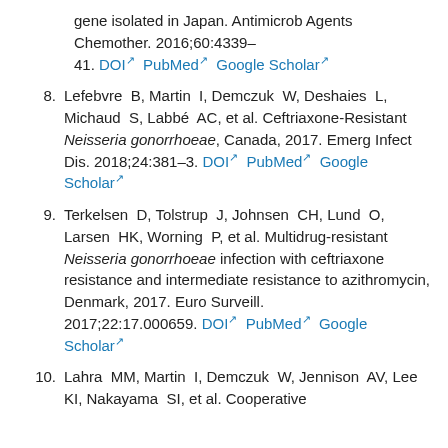gene isolated in Japan. Antimicrob Agents Chemother. 2016;60:4339–41. DOI PubMed Google Scholar
8. Lefebvre B, Martin I, Demczuk W, Deshaies L, Michaud S, Labbé AC, et al. Ceftriaxone-Resistant Neisseria gonorrhoeae, Canada, 2017. Emerg Infect Dis. 2018;24:381–3. DOI PubMed Google Scholar
9. Terkelsen D, Tolstrup J, Johnsen CH, Lund O, Larsen HK, Worning P, et al. Multidrug-resistant Neisseria gonorrhoeae infection with ceftriaxone resistance and intermediate resistance to azithromycin, Denmark, 2017. Euro Surveill. 2017;22:17.000659. DOI PubMed Google Scholar
10. Lahra MM, Martin I, Demczuk W, Jennison AV, Lee KI, Nakayama SI, et al. Cooperative